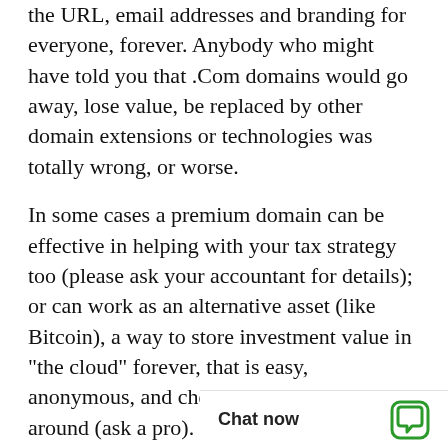the URL, email addresses and branding for everyone, forever. Anybody who might have told you that .Com domains would go away, lose value, be replaced by other domain extensions or technologies was totally wrong, or worse.
In some cases a premium domain can be effective in helping with your tax strategy too (please ask your accountant for details); or can work as an alternative asset (like Bitcoin), a way to store investment value in "the cloud" forever, that is easy, anonymous, and cheap to control and move around (ask a pro).
Each domain in our marketplace is individually valued based on a series of attributes, developed by professionals for over two decades. We are the primary dealer for every single fabulous .Com domain listed on our site. Any secondary.
Chat now